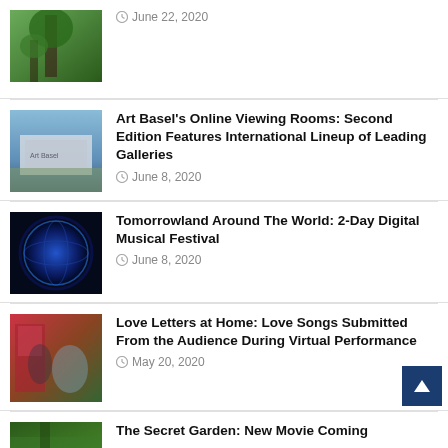[Figure (photo): Person standing near a tree in a forest]
June 22, 2020
[Figure (photo): Art Basel building exterior with crowd]
Art Basel's Online Viewing Rooms: Second Edition Features International Lineup of Leading Galleries
June 8, 2020
[Figure (photo): Globe/Earth digital illustration]
Tomorrowland Around The World: 2-Day Digital Musical Festival
June 8, 2020
[Figure (photo): People in formal attire for love letters performance]
Love Letters at Home: Love Songs Submitted From the Audience During Virtual Performance
May 20, 2020
[Figure (photo): Secret Garden movie scene with forest]
The Secret Garden: New Movie Coming